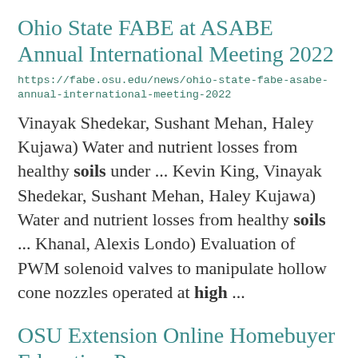Ohio State FABE at ASABE Annual International Meeting 2022
https://fabe.osu.edu/news/ohio-state-fabe-asabe-annual-international-meeting-2022
Vinayak Shedekar, Sushant Mehan, Haley Kujawa) Water and nutrient losses from healthy soils under ... Kevin King, Vinayak Shedekar, Sushant Mehan, Haley Kujawa) Water and nutrient losses from healthy soils ... Khanal, Alexis Londo) Evaluation of PWM solenoid valves to manipulate hollow cone nozzles operated at high ...
OSU Extension Online Homebuyer Education P...